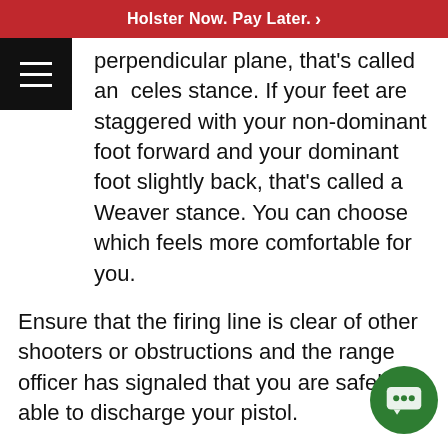Holster Now. Pay Later. >
perpendicular plane, that's called an Isoceles stance. If your feet are staggered with your non-dominant foot forward and your dominant foot slightly back, that's called a Weaver stance. You can choose which feels more comfortable for you.
Ensure that the firing line is clear of other shooters or obstructions and the range officer has signaled that you are safely able to discharge your pistol.
Use the palm of your hand to gain leverage over the back of the pistol grip and slowly wind your supporting fingers about the grip leaving your trigger finger straight and along...